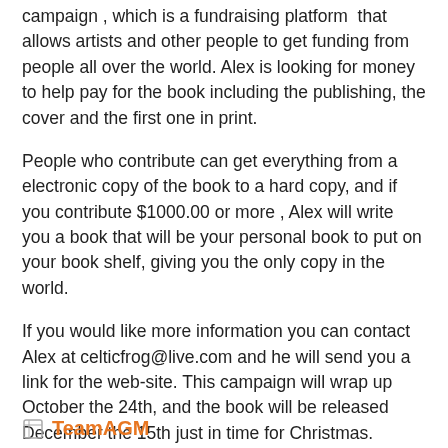campaign , which is a fundraising platform that allows artists and other people to get funding from people all over the world. Alex is looking for money to help pay for the book including the publishing, the cover and the first one in print.
People who contribute can get everything from a electronic copy of the book to a hard copy, and if you contribute $1000.00 or more , Alex will write you a book that will be your personal book to put on your book shelf, giving you the only copy in the world.
If you would like more information you can contact Alex at celticfrog@live.com and he will send you a link for the web-site. This campaign will wrap up October the 24th, and the book will be released December the 15th just in time for Christmas.
TeamAGM